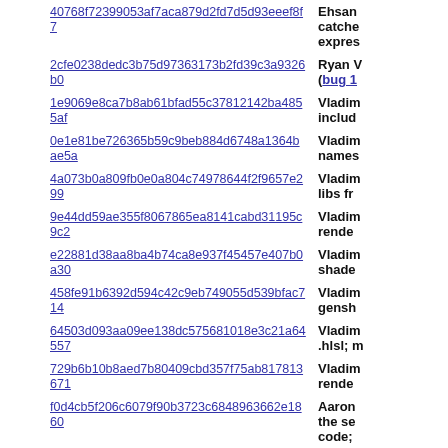40768f72399053af7aca879d2fd7d5d93eeef8f7 | Ehsan... catch... expres...
2cfe0238dedc3b75d97363173b2fd39c3a9326b0 | Ryan... (bug 1...
1e9069e8ca7b8ab61bfad55c37812142ba4855af | Vladim... includ...
0e1e81be726365b59c9beb884d6748a1364bae5a | Vladim... names...
4a073b0a809fb0e0a804c74978644f2f9657e299 | Vladim... libs fr...
9e44dd59ae355f8067865ea8141cabd31195c9c2 | Vladim... rende...
e22881d38aa8ba4b74ca8e937f45457e407b0a30 | Vladim... shade...
458fe91b6392d594c42c9eb749055d539bfac714 | Vladim... gensh...
64503d093aa09ee138dc575681018e3c21a64557 | Vladim... .hlsl; m...
729b6b10b8aed7b80409cbd357f75ab817813671 | Vladim... rende...
f0d4cb5f206c6079f90b3723c6848963662e1860 | Aaron... the se... code;
88a15054f99ff31a7e4d99b68a2f355a9d9b7a8e | Julien... separa...
0332f9af51b3ca6b5c88fbda28f274cb809ff7e9 | Ryan...
08ad3521ebe6ae88896851e4ce04cf0094773c11 | Mason...